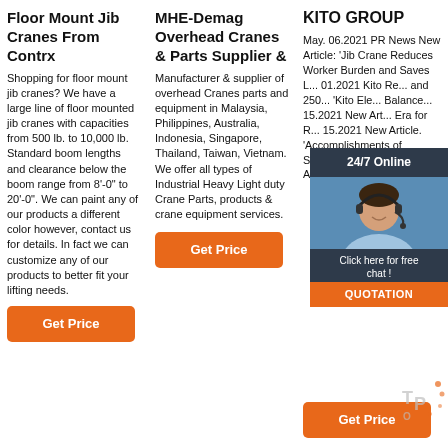Floor Mount Jib Cranes From Contrx
Shopping for floor mount jib cranes? We have a large line of floor mounted jib cranes with capacities from 500 lb. to 10,000 lb. Standard boom lengths and clearance below the boom range from 8'-0" to 20'-0". We can paint any of our products a different color however, contact us for details. In fact we can customize any of our products to better fit your lifting needs.
MHE-Demag Overhead Cranes & Parts Supplier &
Manufacturer & supplier of overhead Cranes parts and equipment in Malaysia, Philippines, Australia, Indonesia, Singapore, Thailand, Taiwan, Vietnam. We offer all types of Industrial Heavy Light duty Crane Parts, products & crane equipment services.
Get Price
KITO GROUP
May. 06.2021 PR News New Article: 'Jib Crane Reduces Worker Burden and Saves L... 01.2021 Kito Re... and 250... 'Kito Ele... Balance... 15.2021 New Art... Era for R... 15.2021 New Article. 'Accomplishments of Shirase, the Japanese Antarctic Observation...
Get Price
[Figure (photo): Customer support representative with headset, shown in chat widget overlay with '24/7 Online' header, 'Click here for free chat!' text, and orange QUOTATION button]